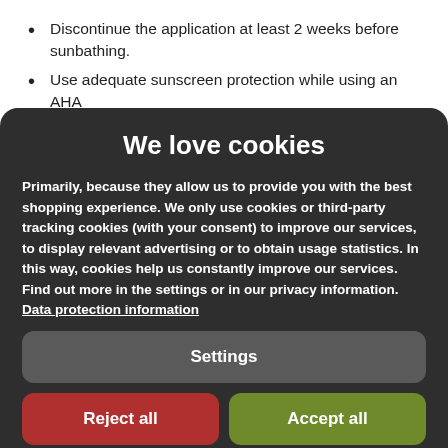Discontinue the application at least 2 weeks before sunbathing.
Use adequate sunscreen protection while using an AHA
We love cookies
Primarily, because they allow us to provide you with the best shopping experience. We only use cookies or third-party tracking cookies (with your consent) to improve our services, to display relevant advertising or to obtain usage statistics. In this way, cookies help us constantly improve our services. Find out more in the settings or in our privacy information.
Data protection information
Settings
Reject all
Accept all